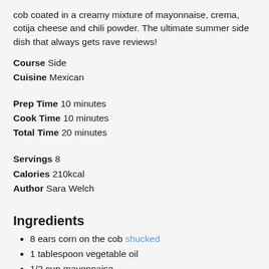cob coated in a creamy mixture of mayonnaise, crema, cotija cheese and chili powder. The ultimate summer side dish that always gets rave reviews!
Course  Side
Cuisine  Mexican
Prep Time  10 minutes
Cook Time  10 minutes
Total Time  20 minutes
Servings  8
Calories  210kcal
Author  Sara Welch
Ingredients
8 ears corn on the cob shucked
1 tablespoon vegetable oil
1/2 cup mayonnaise
1/2 cup Mexican crema or sour cream
2 tablespoons lime juice
1/2 cup cotija cheese finely grated
1 teaspoon chili powder